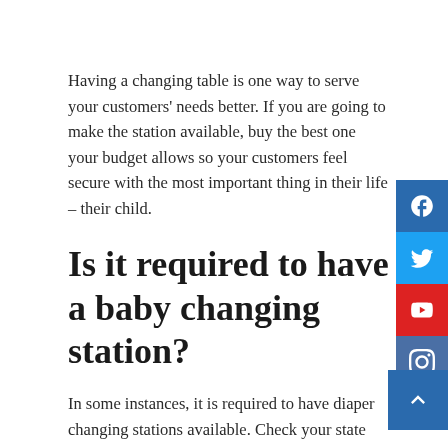Having a changing table is one way to serve your customers' needs better. If you are going to make the station available, buy the best one your budget allows so your customers feel secure with the most important thing in their life – their child.
Is it required to have a baby changing station?
In some instances, it is required to have diaper changing stations available. Check your state and local requirements, as well as requirements